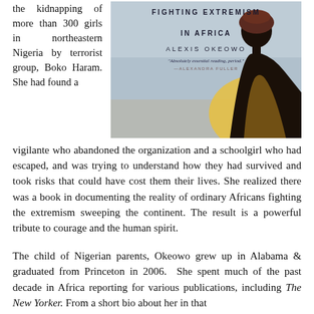the kidnapping of more than 300 girls in northeastern Nigeria by terrorist group, Boko Haram. She had found a
[Figure (photo): Book cover of 'A Moonless, Starless Sky: Ordinary Women and Men Fighting Extremism in Africa' by Alexis Okeowo. Cover shows a silhouette of a woman in a yellow garment against a grey background. Quote: 'Absolutely essential reading, period.' —Alexandra Fuller]
vigilante who abandoned the organization and a schoolgirl who had escaped, and was trying to understand how they had survived and took risks that could have cost them their lives. She realized there was a book in documenting the reality of ordinary Africans fighting the extremism sweeping the continent. The result is a powerful tribute to courage and the human spirit.
The child of Nigerian parents, Okeowo grew up in Alabama & graduated from Princeton in 2006. She spent much of the past decade in Africa reporting for various publications, including The New Yorker. From a short bio about her in that